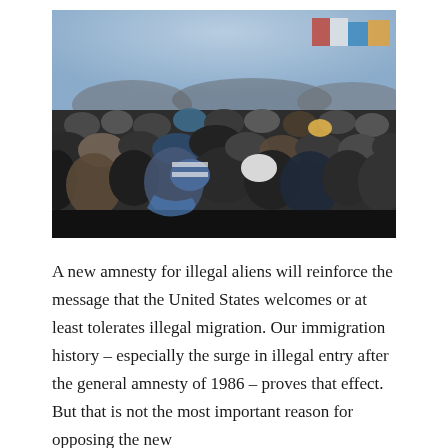[Figure (photo): A large crowd of people seen from behind, densely packed, wearing winter coats and hats, with flags visible in the blurred background — an outdoor public gathering or protest scene.]
A new amnesty for illegal aliens will reinforce the message that the United States welcomes or at least tolerates illegal migration. Our immigration history – especially the surge in illegal entry after the general amnesty of 1986 – proves that effect. But that is not the most important reason for opposing the new